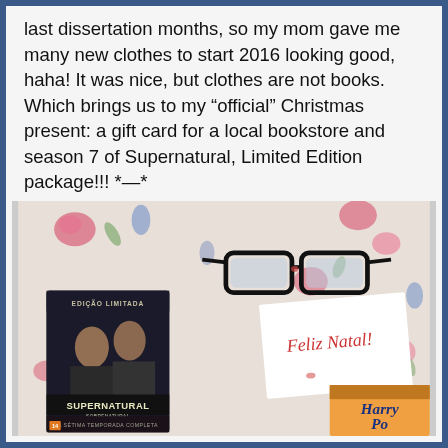last dissertation months, so my mom gave me many new clothes to start 2016 looking good, haha! It was nice, but clothes are not books. Which brings us to my “official” Christmas present: a gift card for a local bookstore and season 7 of Supernatural, Limited Edition package!!! *—*
[Figure (photo): Photo on a floral tablecloth showing a Supernatural Season 7 Limited Edition DVD box set (labeled 'Edição Limitada' and 'A Sétima Temporada Completa'), black-framed eyeglasses, a handwritten note reading 'Feliz Natal!', and the corner of a Harry Potter book.]